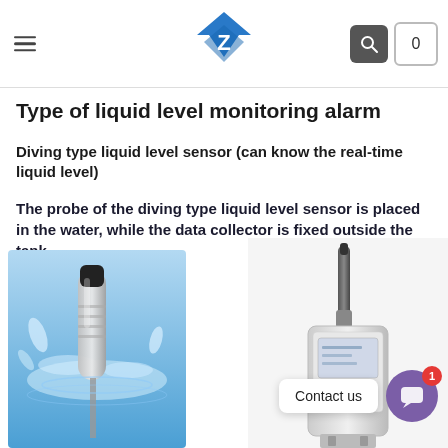Navigation bar with hamburger menu, Z logo, search and cart icons
Type of liquid level monitoring alarm
Diving type liquid level sensor (can know the real-time liquid level)
The probe of the diving type liquid level sensor is placed in the water, while the data collector is fixed outside the tank
[Figure (photo): Diving type liquid level sensor probe submerged in water with water splash effects]
[Figure (photo): Data collector device with antenna fixed outside the tank]